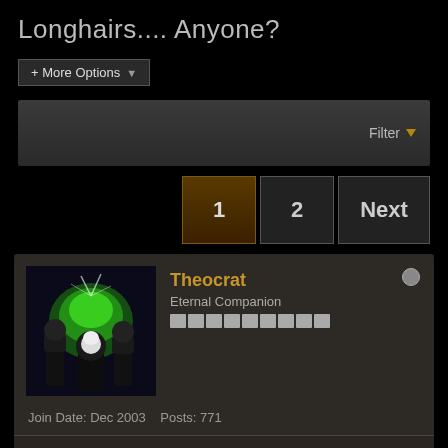Longhairs.... Anyone?
+ More Options
Filter
1  2  Next
Theocrat
Eternal Companion
Join Date: Dec 2003  Posts: 771
Longhairs.... Anyone?  #1
07-27-2004, 03:37 PM
Who else gets shit for having long hair nowadays... Should have thought that such a thing would be more rare today.. 'but it isn't'.. Having to explain it many times, and having to talk to insecure people